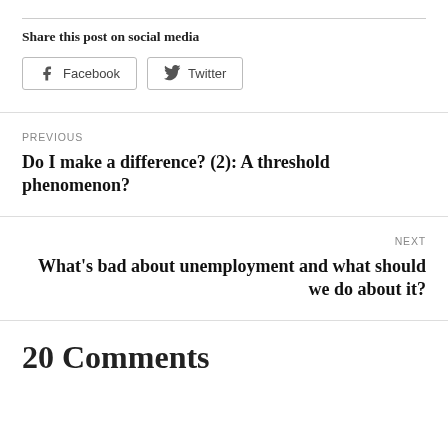Share this post on social media
[Figure (other): Facebook and Twitter social share buttons]
PREVIOUS
Do I make a difference? (2): A threshold phenomenon?
NEXT
What’s bad about unemployment and what should we do about it?
20 Comments